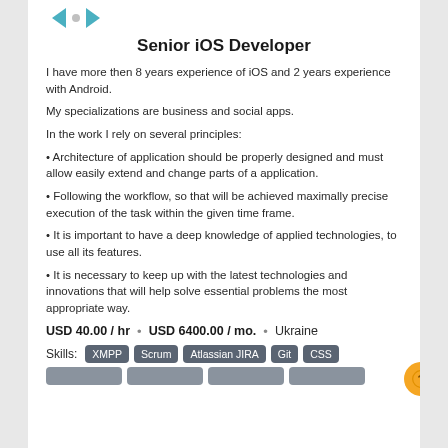[Figure (logo): App logo with left and right arrow icons and a grey dot in the center]
Senior iOS Developer
I have more then 8 years experience of iOS and 2 years experience with Android.
My specializations are business and social apps.
In the work I rely on several principles:
• Architecture of application should be properly designed and must allow easily extend and change parts of a application.
• Following the workflow, so that will be achieved maximally precise execution of the task within the given time frame.
• It is important to have a deep knowledge of applied technologies, to use all its features.
• It is necessary to keep up with the latest technologies and innovations that will help solve essential problems the most appropriate way.
USD 40.00 / hr  •  USD 6400.00 / mo.  •  Ukraine
Skills: XMPP  Scrum  Atlassian JIRA  Git  CSS